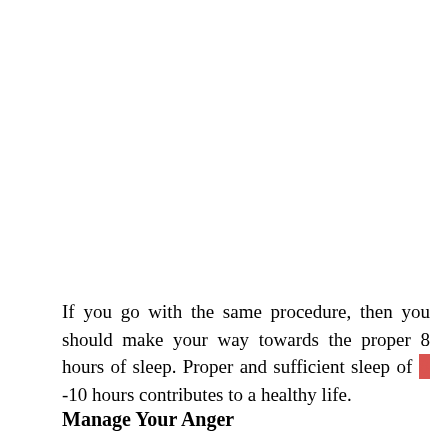If you go with the same procedure, then you should make your way towards the proper 8 hours of sleep. Proper and sufficient sleep of 8 -10 hours contributes to a healthy life.
Manage Your Anger